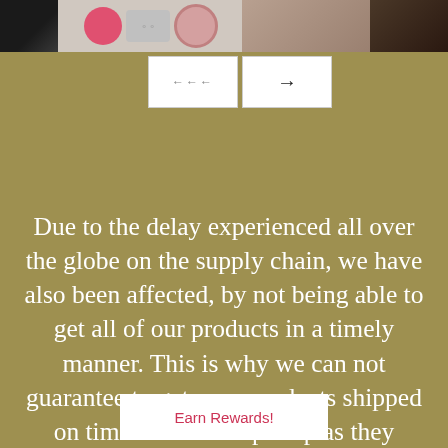[Figure (screenshot): Top image strip showing product images including accessories and a bag, with two navigation buttons (back arrow and forward arrow) below on white rectangular buttons]
Due to the delay experienced all over the globe on the supply chain, we have also been affected, by not being able to get all of our products in a timely manner. This is why we can not guarantee to get your products shipped on time but will ship asap as they arrive.  Custom-made items are not subject to the normal
Earn Rewards!